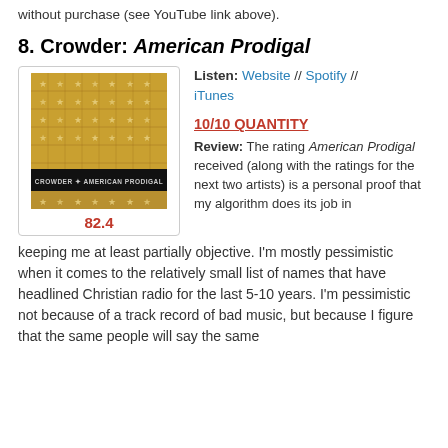without purchase (see YouTube link above).
8. Crowder: American Prodigal
[Figure (photo): Album cover for Crowder's American Prodigal, gold/metallic texture with stars pattern and a black banner at the bottom reading CROWDER * AMERICAN PRODIGAL]
82.4
Listen: Website // Spotify // iTunes
10/10 QUANTITY
Review: The rating American Prodigal received (along with the ratings for the next two artists) is a personal proof that my algorithm does its job in keeping me at least partially objective. I'm mostly pessimistic when it comes to the relatively small list of names that have headlined Christian radio for the last 5-10 years. I'm pessimistic not because of a track record of bad music, but because I figure that the same people will say the same